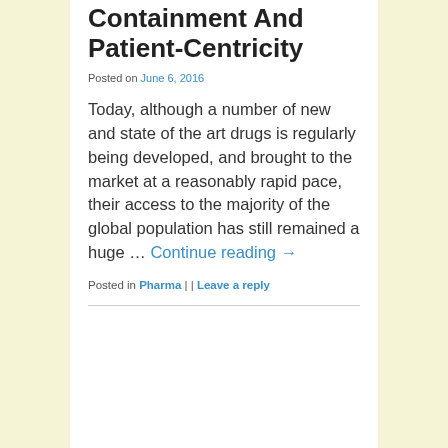Containment And Patient-Centricity
Posted on June 6, 2016
Today, although a number of new and state of the art drugs is regularly being developed, and brought to the market at a reasonably rapid pace, their access to the majority of the global population has still remained a huge … Continue reading →
Posted in Pharma | | Leave a reply